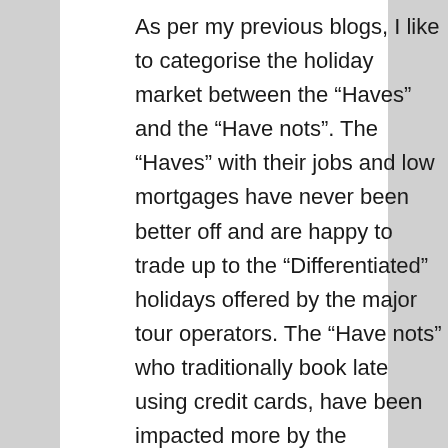As per my previous blogs, I like to categorise the holiday market between the “Haves” and the “Have nots”. The “Haves” with their jobs and low mortgages have never been better off and are happy to trade up to the “Differentiated” holidays offered by the major tour operators. The “Have nots” who traditionally book late using credit cards, have been impacted more by the recession and hence when a heat wave hits, it's very tempting to shelve the overseas holiday and just sit in the garden.
We also need to take into account the “Electronic Evolution” that has occurred